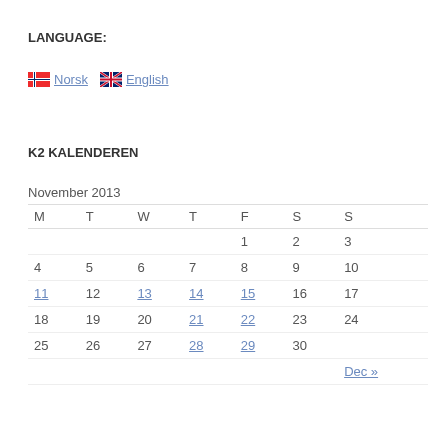LANGUAGE:
Norsk   English
K2 KALENDEREN
| M | T | W | T | F | S | S |
| --- | --- | --- | --- | --- | --- | --- |
|  |  |  |  | 1 | 2 | 3 |
| 4 | 5 | 6 | 7 | 8 | 9 | 10 |
| 11 | 12 | 13 | 14 | 15 | 16 | 17 |
| 18 | 19 | 20 | 21 | 22 | 23 | 24 |
| 25 | 26 | 27 | 28 | 29 | 30 |  |